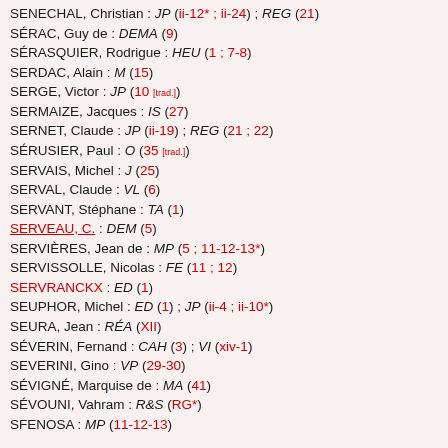SENECHAL, Christian : JP (ii-12* ; ii-24) ; REG (21)
SÉRAC, Guy de : DEMA (9)
SÉRASQUIER, Rodrigue : HEU (1 ; 7-8)
SERDAC, Alain : M (15)
SERGE, Victor : JP (10 [trad.])
SERMAIZE, Jacques : IS (27)
SERNET, Claude : JP (ii-19) ; REG (21 ; 22)
SÉRUSIER, Paul : O (35 [trad.])
SERVAIS, Michel : J (25)
SERVAL, Claude : VL (6)
SERVANT, Stéphane : TA (1)
SERVEAU, C. : DEM (5)
SERVIÈRES, Jean de : MP (5 ; 11-12-13*)
SERVISSOLLE, Nicolas : FE (11 ; 12)
SERVRANCKX : ED (1)
SEUPHOR, Michel : ED (1) ; JP (ii-4 ; ii-10*)
SEURA, Jean : RÉA (XII)
SÉVERIN, Fernand : CAH (3) ; VI (xiv-1)
SEVERINI, Gino : VP (29-30)
SÉVIGNÉ, Marquise de : MA (41)
SÉVOUNI, Vahram : R&S (RG*)
SFENOSA : MP (11-12-13)